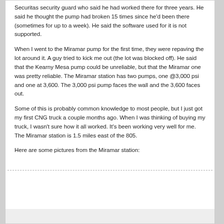Securitas security guard who said he had worked there for three years. He said he thought the pump had broken 15 times since he'd been there (sometimes for up to a week). He said the software used for it is not supported.
When I went to the Miramar pump for the first time, they were repaving the lot around it. A guy tried to kick me out (the lot was blocked off). He said that the Kearny Mesa pump could be unreliable, but that the Miramar one was pretty reliable. The Miramar station has two pumps, one @3,000 psi and one at 3,600. The 3,000 psi pump faces the wall and the 3,600 faces out.
Some of this is probably common knowledge to most people, but I just got my first CNG truck a couple months ago. When I was thinking of buying my truck, I wasn't sure how it all worked. It's been working very well for me. The Miramar station is 1.5 miles east of the 805.
Here are some pictures from the Miramar station: